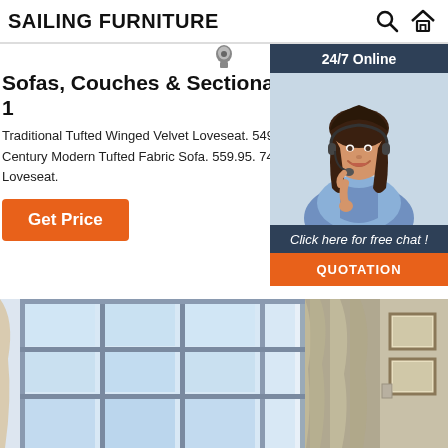SAILING FURNITURE
Sofas, Couches & Sectionals - Pier 1
Traditional Tufted Winged Velvet Loveseat. 549.95. 68...
Century Modern Tufted Fabric Sofa. 559.95. 744.95. (...
Loveseat.
Get Price
[Figure (screenshot): 24/7 Online chat widget showing a customer service agent with headset, 'Click here for free chat!' text, and QUOTATION button]
[Figure (photo): Interior room photo showing large windows with dark frames and curtains, and a room visible on the right side]